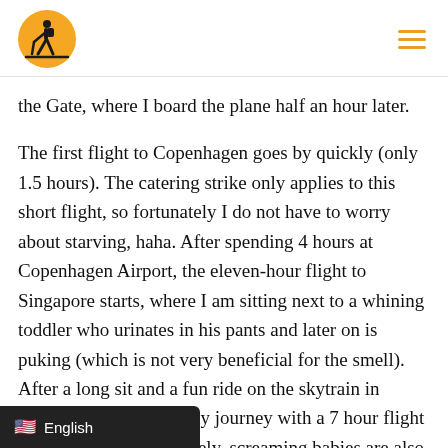[Logo: traveler with backpack icon] [Hamburger menu]
the Gate, where I board the plane half an hour later.

The first flight to Copenhagen goes by quickly (only 1.5 hours). The catering strike only applies to this short flight, so fortunately I do not have to worry about starving, haha. After spending 4 hours at Copenhagen Airport, the eleven-hour flight to Singapore starts, where I am sitting next to a whining toddler who urinates in his pants and later on is puking (which is not very beneficial for the smell). After a long sit and a fun ride on the skytrain in Singapore, I continue my journey with a 7 hour flight to Brisbane. Unfortunately, screaming babies are also on board [...]ess I'm still able to sleep for two hours.
🇺🇸 English